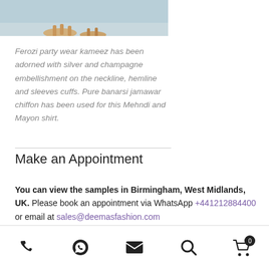[Figure (photo): Partial photo of a person wearing sandals, cropped to show feet and lower legs against a light blue/beach background]
Ferozi party wear kameez has been adorned with silver and champagne embellishment on the neckline, hemline and sleeves cuffs. Pure banarsi jamawar chiffon has been used for this Mehndi and Mayon shirt.
Make an Appointment
You can view the samples in Birmingham, West Midlands, UK. Please book an appointment via WhatsApp +441212884400 or email at sales@deemasfashion.com
Phone | WhatsApp | Email | Search | Cart (0)